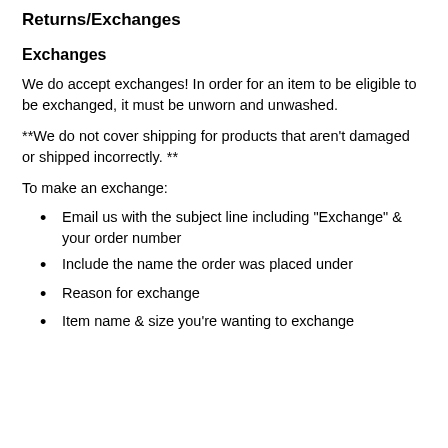Returns/Exchanges
Exchanges
We do accept exchanges! In order for an item to be eligible to be exchanged, it must be unworn and unwashed.
**We do not cover shipping for products that aren’t damaged or shipped incorrectly. **
To make an exchange:
Email us with the subject line including “Exchange” & your order number
Include the name the order was placed under
Reason for exchange
Item name & size you’re wanting to exchange